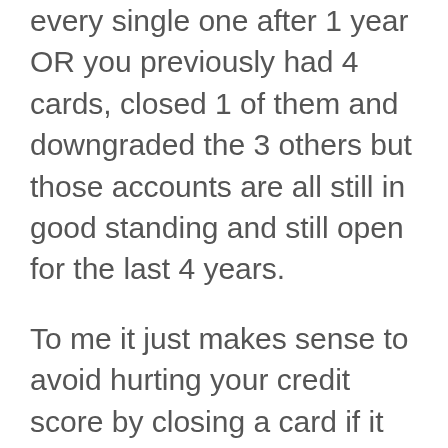every single one after 1 year OR you previously had 4 cards, closed 1 of them and downgraded the 3 others but those accounts are all still in good standing and still open for the last 4 years.
To me it just makes sense to avoid hurting your credit score by closing a card if it can be avoided. If the bank is giving you the option to keep the credit line open for free with a downgrade, why